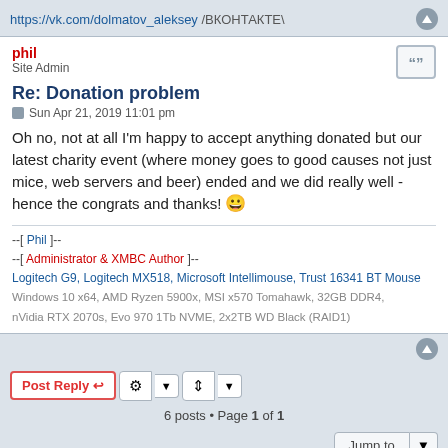https://vk.com/dolmatov_aleksey /ВКОНТАКТЕ\
phil
Site Admin
Re: Donation problem
Sun Apr 21, 2019 11:01 pm
Oh no, not at all I'm happy to accept anything donated but our latest charity event (where money goes to good causes not just mice, web servers and beer) ended and we did really well - hence the congrats and thanks! 😀
--[ Phil ]--
--[ Administrator & XMBC Author ]--
Logitech G9, Logitech MX518, Microsoft Intellimouse, Trust 16341 BT Mouse
Windows 10 x64, AMD Ryzen 5900x, MSI x570 Tomahawk, 32GB DDR4, nVidia RTX 2070s, Evo 970 1Tb NVME, 2x2TB WD Black (RAID1)
6 posts • Page 1 of 1
Jump to